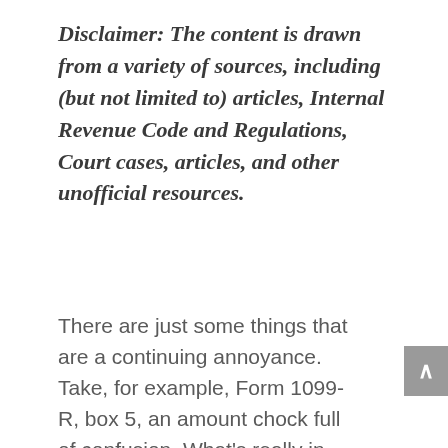Disclaimer: The content is drawn from a variety of sources, including (but not limited to) articles, Internal Revenue Code and Regulations, Court cases, articles, and other unofficial resources.
There are just some things that are a continuing annoyance. Take, for example, Form 1099-R, box 5, an amount chock full of confusion. What's really in here?